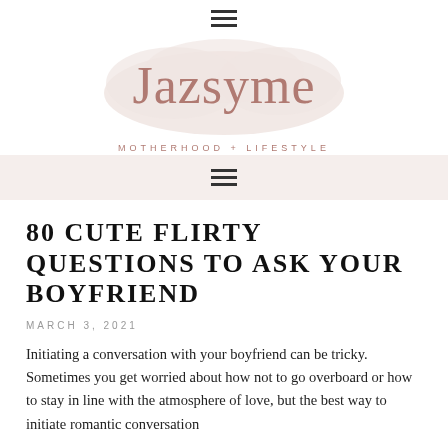☰ (menu icon)
[Figure (logo): Jazsyme blog logo with script text 'Jazsyme' over a cloud shape, and subtitle 'MOTHERHOOD + LIFESTYLE' in mauve/rose color]
☰ (navigation menu icon)
80 CUTE FLIRTY QUESTIONS TO ASK YOUR BOYFRIEND
MARCH 3, 2021
Initiating a conversation with your boyfriend can be tricky. Sometimes you get worried about how not to go overboard or how to stay in line with the atmosphere of love, but the best way to initiate romantic conversation